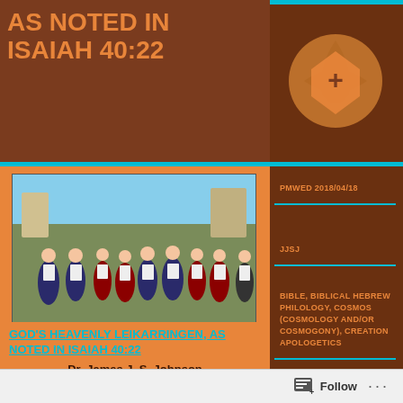AS NOTED IN ISAIAH 40:22
[Figure (illustration): Globe/pin icon in orange circle on dark brown background]
[Figure (photo): Group of folk dancers in traditional Scandinavian costumes dancing outdoors]
GOD'S HEAVENLY LEIKARRINGEN, AS NOTED IN ISAIAH 40:22
Dr. James J. S. Johnson
"It is He Who sits upon the circle of the earth, and the inhabitants thereof are as grasshoppers; it is He Who stretches out the heavens as a curtain, and spreads them out as a
PMWED 2018/04/18
JJSJ
BIBLE, BIBLICAL HEBREW PHILOLOGY, COSMOS (COSMOLOGY AND/OR COSMOGONY), CREATION APOLOGETICS
CHOREOGRAPHY, CIRCLE, CIRCUIT, COSMIC, DANCE, HEAVENS, ISAIAH 40:22
Follow ···